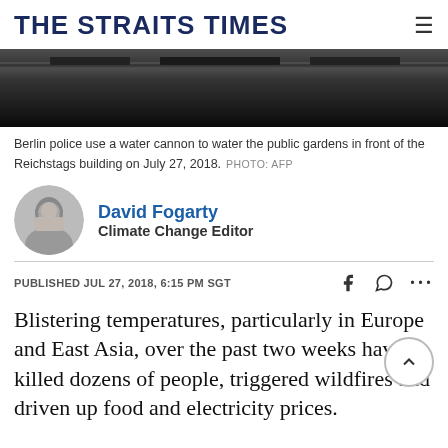THE STRAITS TIMES
[Figure (photo): Dark photo strip showing a road or surface, partially obscured, dark tones]
Berlin police use a water cannon to water the public gardens in front of the Reichstags building on July 27, 2018. PHOTO: AFP
David Fogarty
Climate Change Editor
PUBLISHED JUL 27, 2018, 6:15 PM SGT
Blistering temperatures, particularly in Europe and East Asia, over the past two weeks have killed dozens of people, triggered wildfires and driven up food and electricity prices.